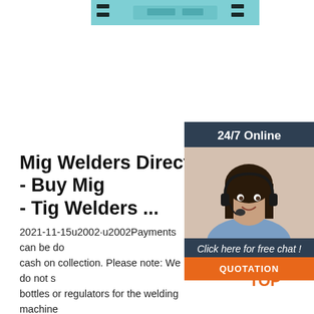[Figure (photo): Top portion of a welding machine in teal/blue-green color]
[Figure (photo): Customer service chat widget showing a woman with headset, '24/7 Online' header, 'Click here for free chat!' text, and QUOTATION button]
Mig Welders Direct - Buy Mig - Tig Welders ...
2021-11-15u2002·u2002Payments can be done cash on collection. Please note: We do not s... bottles or regulators for the welding machine... Direct 021 5562413. Nutec machinery. Our a... Killarney Avenue, Unit 4, Killarney Gardens, ... 7441.
[Figure (other): Orange 'Get Price' button]
[Figure (logo): Orange 'TOP' logo with dots arranged in triangle above the text]